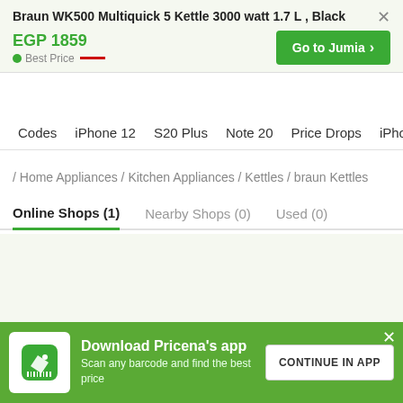Braun WK500 Multiquick 5 Kettle 3000 watt 1.7 L , Black
EGP 1859
Best Price
Go to Jumia >
Codes  iPhone 12  S20 Plus  Note 20  Price Drops  iPhone 12
/ Home Appliances / Kitchen Appliances / Kettles / braun Kettles
Online Shops (1)   Nearby Shops (0)   Used (0)
Download Pricena's app
Scan any barcode and find the best price
CONTINUE IN APP